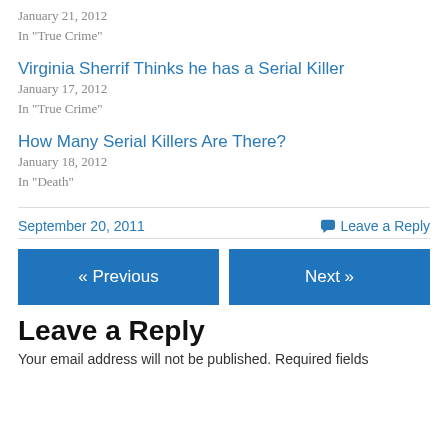January 21, 2012
In "True Crime"
Virginia Sherrif Thinks he has a Serial Killer
January 17, 2012
In "True Crime"
How Many Serial Killers Are There?
January 18, 2012
In "Death"
September 20, 2011
Leave a Reply
« Previous
Next »
Leave a Reply
Your email address will not be published. Required fields